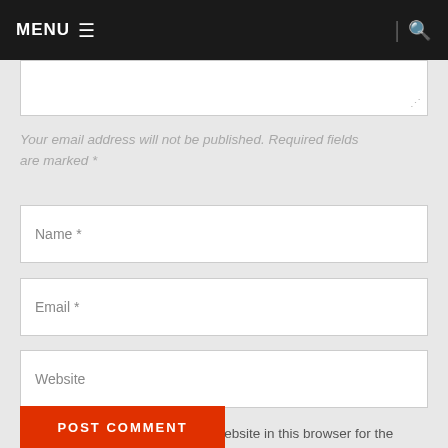MENU ☰   | 🔍
Your email address will not be published. Required fields are marked *
Name *
Email *
Website
Save my name, email, and website in this browser for the next time I comment.
POST COMMENT